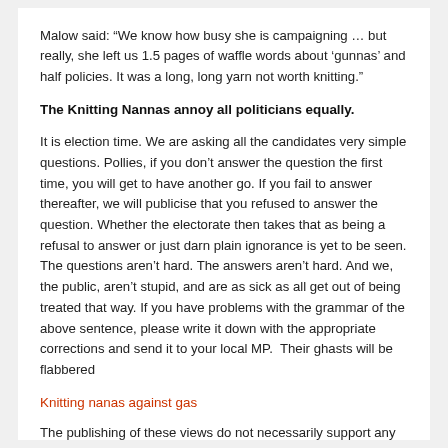Malow said: “We know how busy she is campaigning … but really, she left us 1.5 pages of waffle words about ‘gunnas’ and half policies. It was a long, long yarn not worth knitting.”
The Knitting Nannas annoy all politicians equally.
It is election time. We are asking all the candidates very simple questions. Pollies, if you don’t answer the question the first time, you will get to have another go. If you fail to answer thereafter, we will publicise that you refused to answer the question. Whether the electorate then takes that as being a refusal to answer or just darn plain ignorance is yet to be seen. The questions aren’t hard. The answers aren’t hard. And we, the public, aren’t stupid, and are as sick as all get out of being treated that way. If you have problems with the grammar of the above sentence, please write it down with the appropriate corrections and send it to your local MP.  Their ghasts will be flabbered
Knitting nanas against gas
The publishing of these views do not necessarily support any